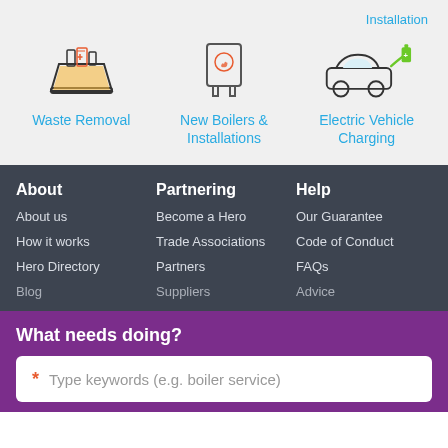Installation
[Figure (illustration): Icon of a skip/bin with waste items]
Waste Removal
[Figure (illustration): Icon of a boiler/water heater]
New Boilers & Installations
[Figure (illustration): Icon of an electric vehicle charging]
Electric Vehicle Charging
About
About us
How it works
Hero Directory
Blog
Partnering
Become a Hero
Trade Associations
Partners
Suppliers
Help
Our Guarantee
Code of Conduct
FAQs
Advice
What needs doing?
Type keywords (e.g. boiler service)